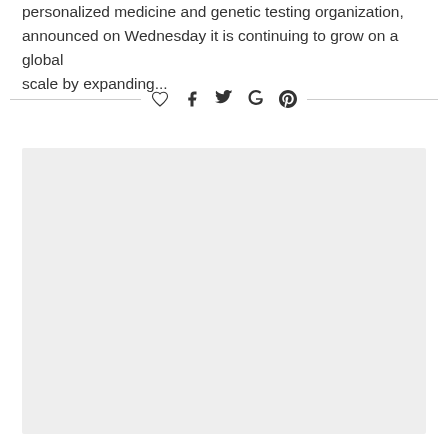personalized medicine and genetic testing organization, announced on Wednesday it is continuing to grow on a global scale by expanding...
[Figure (other): Social sharing bar with heart/like, Facebook, Twitter, Google+, and Pinterest icons, flanked by horizontal lines]
[Figure (photo): Large light gray image placeholder block]